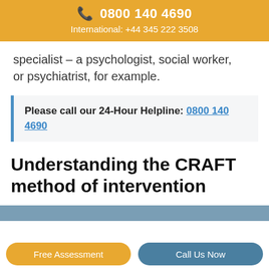0800 140 4690
International: +44 345 222 3508
specialist – a psychologist, social worker, or psychiatrist, for example.
Please call our 24-Hour Helpline: 0800 140 4690
Understanding the CRAFT method of intervention
Free Assessment
Call Us Now